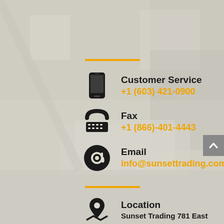[Figure (infographic): Blurred interior room background with gray overlay]
Customer Service
+1 (603) 421-0900
Fax
+1 (866)-401-4443
Email
info@sunsettrading.com
Location
Sunset Trading 781 East